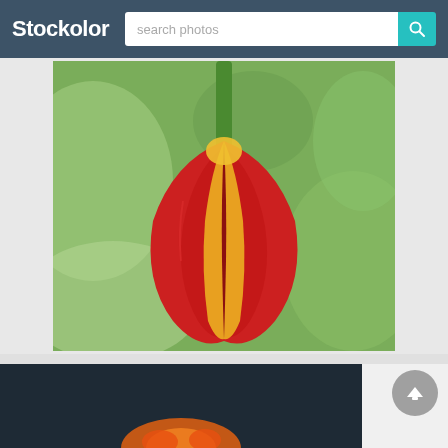Stockolor — search photos
[Figure (photo): Close-up macro photo of a red and yellow tulip bud against a blurred green background. The tulip is partially open, showing yellow interior petals with red outer petals.]
[Figure (photo): Bottom portion of a second image showing an orange flower against a dark background, partially visible at the bottom of the page.]